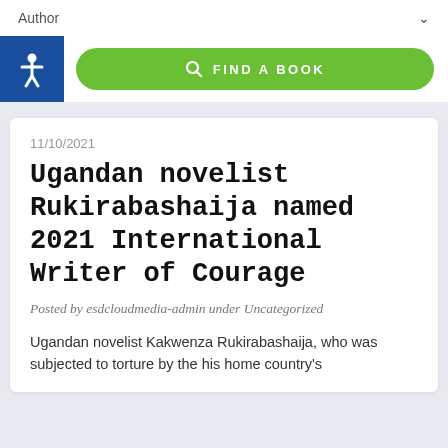Author
[Figure (other): Green search button with magnifying glass icon and text FIND A BOOK, with blue accessibility icon on the left]
11/10/2021
Ugandan novelist Rukirabashaija named 2021 International Writer of Courage
Posted by esdcloudmedia-admin under Uncategorized
Ugandan novelist Kakwenza Rukirabashaija, who was subjected to torture by the his home country's